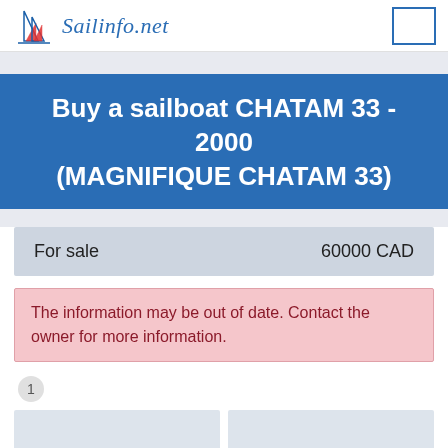Sailinfo.net
Buy a sailboat CHATAM 33 - 2000 (MAGNIFIQUE CHATAM 33)
For sale   60000 CAD
The information may be out of date. Contact the owner for more information.
1